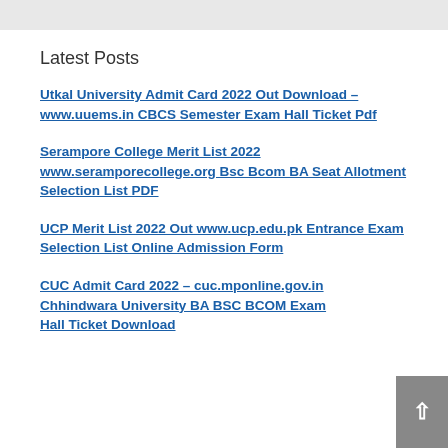Latest Posts
Utkal University Admit Card 2022 Out Download – www.uuems.in CBCS Semester Exam Hall Ticket Pdf
Serampore College Merit List 2022 www.seramporecollege.org Bsc Bcom BA Seat Allotment Selection List PDF
UCP Merit List 2022 Out www.ucp.edu.pk Entrance Exam Selection List Online Admission Form
CUC Admit Card 2022 – cuc.mponline.gov.in Chhindwara University BA BSC BCOM Exam Hall Ticket Download